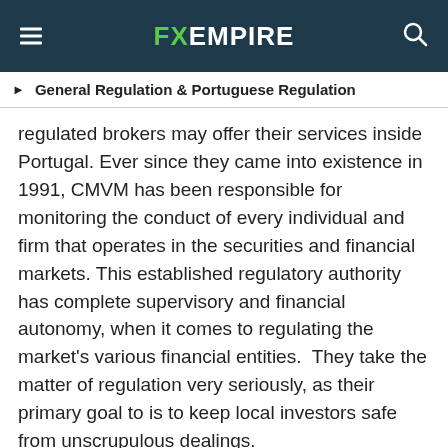FX EMPIRE
General Regulation & Portuguese Regulation
regulated brokers may offer their services inside Portugal. Ever since they came into existence in 1991, CMVM has been responsible for monitoring the conduct of every individual and firm that operates in the securities and financial markets. This established regulatory authority has complete supervisory and financial autonomy, when it comes to regulating the market's various financial entities.  They take the matter of regulation very seriously, as their primary goal to is to keep local investors safe from unscrupulous dealings.
Trading Platform & Software